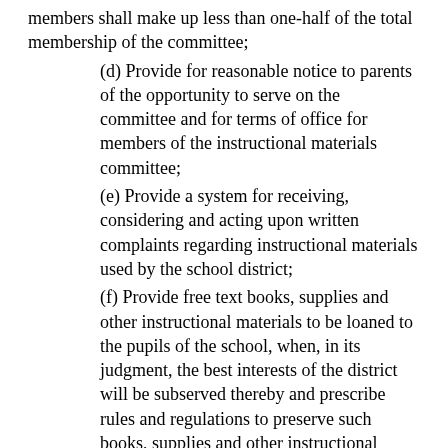members shall make up less than one-half of the total membership of the committee;
(d) Provide for reasonable notice to parents of the opportunity to serve on the committee and for terms of office for members of the instructional materials committee;
(e) Provide a system for receiving, considering and acting upon written complaints regarding instructional materials used by the school district;
(f) Provide free text books, supplies and other instructional materials to be loaned to the pupils of the school, when, in its judgment, the best interests of the district will be subserved thereby and prescribe rules and regulations to preserve such books, supplies and other instructional materials from unnecessary damage.
Recommendation of instructional materials shall be by the district's instructional materials committee in accordance with district policy. Approval or disapproval shall be by the local school district's board of directors.
Districts may pay the necessary travel and